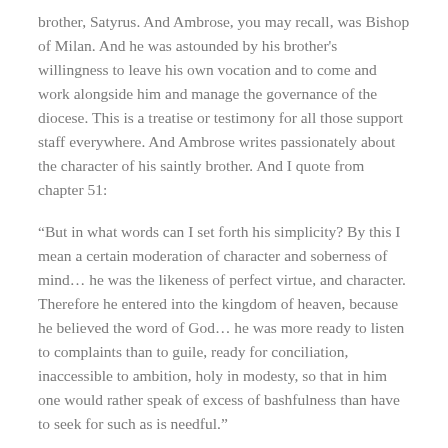brother, Satyrus. And Ambrose, you may recall, was Bishop of Milan. And he was astounded by his brother's willingness to leave his own vocation and to come and work alongside him and manage the governance of the diocese. This is a treatise or testimony for all those support staff everywhere. And Ambrose writes passionately about the character of his saintly brother. And I quote from chapter 51:
“But in what words can I set forth his simplicity? By this I mean a certain moderation of character and soberness of mind… he was the likeness of perfect virtue, and character. Therefore he entered into the kingdom of heaven, because he believed the word of God… he was more ready to listen to complaints than to guile, ready for conciliation, inaccessible to ambition, holy in modesty, so that in him one would rather speak of excess of bashfulness than have to seek for such as is needful.”